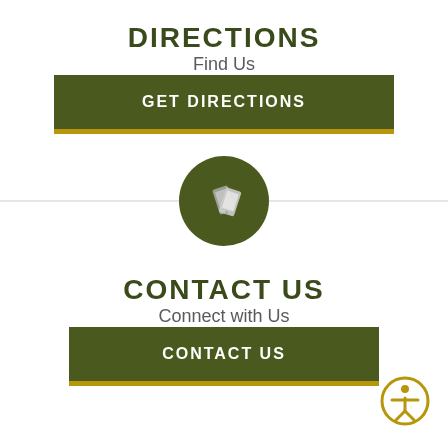DIRECTIONS
Find Us
GET DIRECTIONS
[Figure (infographic): Phone/mobile device icon inside a dark green circle, with a horizontal divider line behind it]
CONTACT US
Connect with Us
CONTACT US
[Figure (infographic): Accessibility icon: person in circle with gold border, bottom right corner]